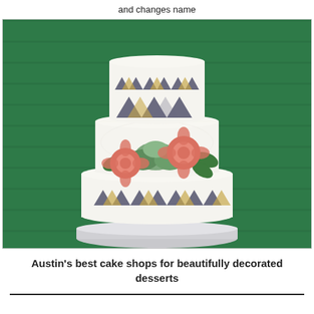and changes name
[Figure (photo): A three-tiered decorated white wedding cake with geometric triangle patterns on the top and bottom tiers, and pink/coral flowers with green succulents on the middle tier, against a dark green wood-paneled background.]
Austin's best cake shops for beautifully decorated desserts